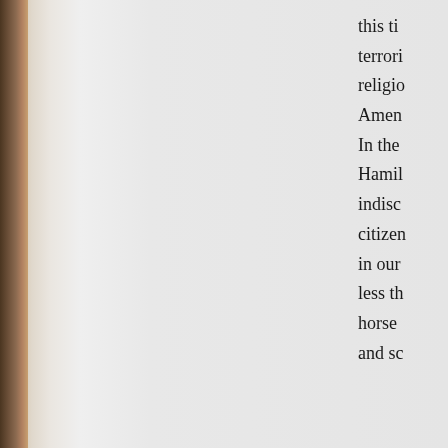[Figure (photo): Partial view of a photo strip along the left edge, showing warm tones of what appears to be an outdoor or landscape scene.]
this ti... terrori... religio... Amen... In the... Hamil... indisc... citizen... in our... less th... horse ... and sc...